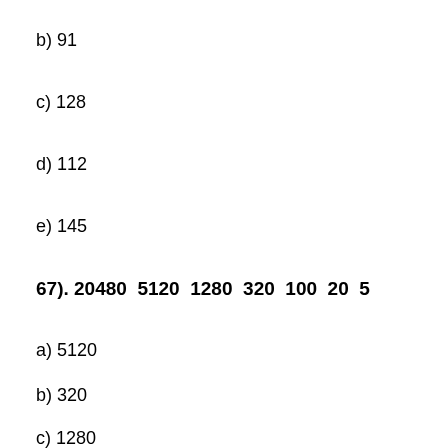b) 91
c) 128
d) 112
e) 145
67). 20480  5120  1280  320  100  20  5
a) 5120
b) 320
c) 1280